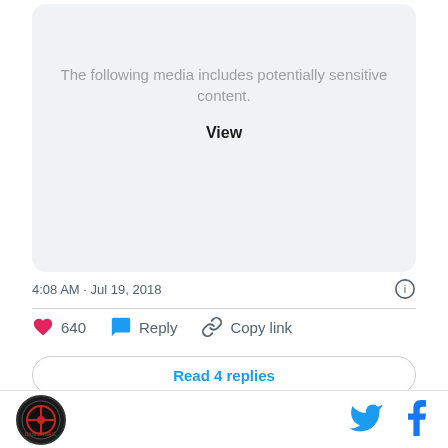[Figure (screenshot): Social media post media card with sensitive content warning. Light gray rounded rectangle showing 'The following media includes potentially sensitive content.' and a 'View' button.]
The following media includes potentially sensitive content.
View
4:08 AM · Jul 19, 2018
640
Reply
Copy link
Read 4 replies